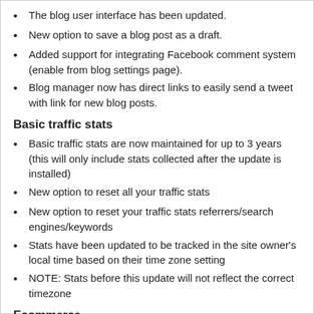The blog user interface has been updated.
New option to save a blog post as a draft.
Added support for integrating Facebook comment system (enable from blog settings page).
Blog manager now has direct links to easily send a tweet with link for new blog posts.
Basic traffic stats
Basic traffic stats are now maintained for up to 3 years (this will only include stats collected after the update is installed)
New option to reset all your traffic stats
New option to reset your traffic stats referrers/search engines/keywords
Stats have been updated to be tracked in the site owner's local time based on their time zone setting
NOTE: Stats before this update will not reflect the correct timezone
Ecommerce
Ecommerce...